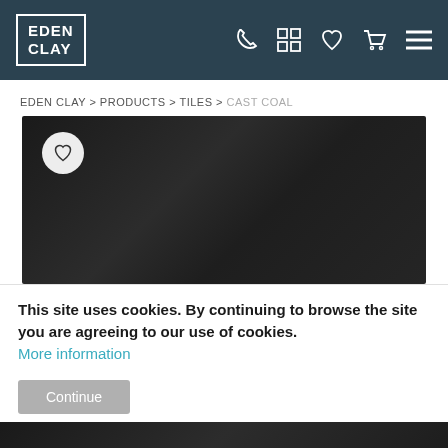EDEN CLAY — navigation header with logo and icons
EDEN CLAY > PRODUCTS > TILES > CAST COAL
[Figure (photo): Close-up photo of a dark charcoal/black tile named Cast Coal, with a heart/wishlist button overlay in the top-left corner]
This site uses cookies. By continuing to browse the site you are agreeing to our use of cookies. More information
Continue